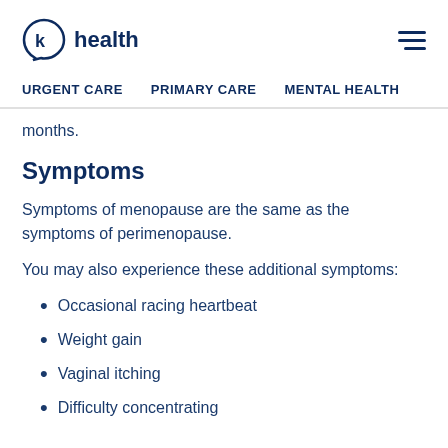k health — URGENT CARE   PRIMARY CARE   MENTAL HEALTH
months.
Symptoms
Symptoms of menopause are the same as the symptoms of perimenopause.
You may also experience these additional symptoms:
Occasional racing heartbeat
Weight gain
Vaginal itching
Difficulty concentrating